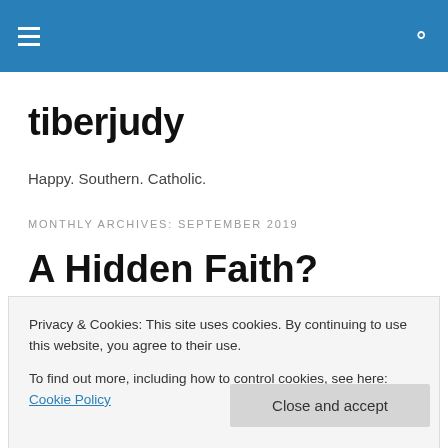tiberjudy — navigation bar with hamburger menu and search icon
tiberjudy
Happy. Southern. Catholic.
MONTHLY ARCHIVES: SEPTEMBER 2019
A Hidden Faith?
[Figure (photo): Partial photo visible behind cookie banner, appears to be a person wearing dark clothing]
Privacy & Cookies: This site uses cookies. By continuing to use this website, you agree to their use.
To find out more, including how to control cookies, see here: Cookie Policy
Close and accept